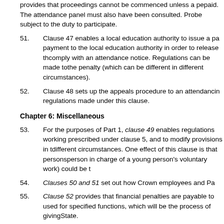provides that proceedings cannot be commenced unless a penalty notice has been paid. The attendance panel must also have been consulted. Pro be subject to the duty to participate.
51. Clause 47 enables a local education authority to issue a payment to the local education authority in order to release the comply with an attendance notice. Regulations can be made to the penalty (which can be different in different circumstances).
52. Clause 48 sets up the appeals procedure to an attendance in regulations made under this clause.
Chapter 6: Miscellaneous
53. For the purposes of Part 1, clause 49 enables regulations working prescribed under clause 5, and to modify provisions in t different circumstances. One effect of this clause is that persons person in charge of a young person's voluntary work) could be t
54. Clauses 50 and 51 set out how Crown employees and Pa
55. Clause 52 provides that financial penalties are payable to used for specified functions, which will be the process of giving State.
Part 2: Support for participation in education or training: yo England
Clauses 54, 55, 56, 57, 58, 59, 60, 61, 62, 63, 64: Provision o
56. Clauses 54 to 64 and clause 65 give effect to proposals s